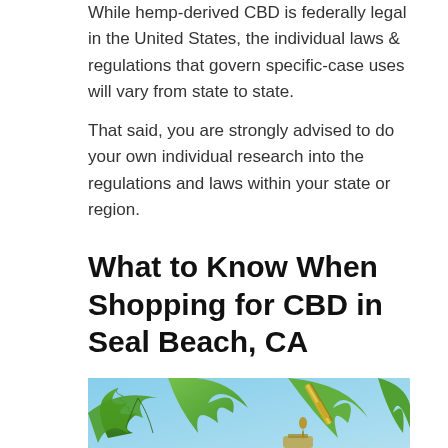While hemp-derived CBD is federally legal in the United States, the individual laws & regulations that govern specific-case uses will vary from state to state.
That said, you are strongly advised to do your own individual research into the regulations and laws within your state or region.
What to Know When Shopping for CBD in Seal Beach, CA
[Figure (photo): Close-up photo of hemp cannabis leaves with a dropper dispensing CBD oil into a small bottle]